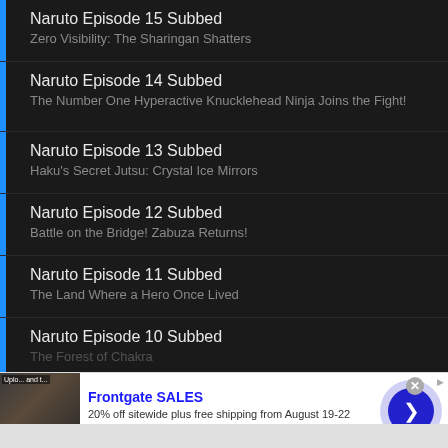Naruto Episode 15 Subbed
Zero Visibility: The Sharingan Shatters
Naruto Episode 14 Subbed
The Number One Hyperactive Knucklehead Ninja Joins the Fight!
Naruto Episode 13 Subbed
Haku's Secret Jutsu: Crystal Ice Mirrors
Naruto Episode 12 Subbed
Battle on the Bridge! Zabuza Returns!
Naruto Episode 11 Subbed
The Land Where a Hero Once Lived
Naruto Episode 10 Subbed
The Forest of Chakra
[Figure (screenshot): Advertisement banner for Frontgate SALES showing outdoor furniture with fire pit. Text: Frontgate SALES, 20% off sitewide plus free shipping from August 19-22, frontgate.com]